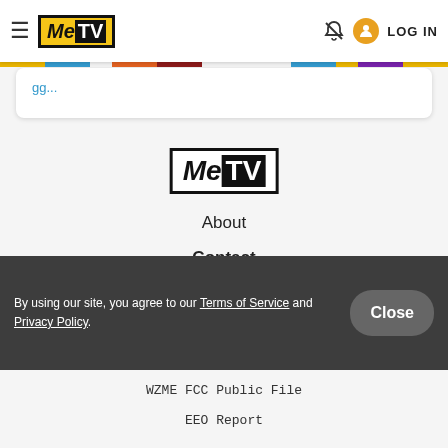MeTV - LOG IN
[Figure (logo): MeTV logo centered on page]
About
Contact
Advertise
Privacy Policy
Terms of Use
WZME FCC Public File
EEO Report
By using our site, you agree to our Terms of Service and Privacy Policy.